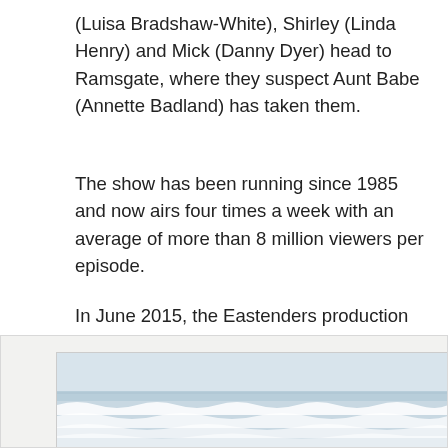(Luisa Bradshaw-White), Shirley (Linda Henry) and Mick (Danny Dyer) head to Ramsgate, where they suspect Aunt Babe (Annette Badland) has taken them.
The show has been running since 1985 and now airs four times a week with an average of more than 8 million viewers per episode.
In June 2015, the Eastenders production filmed for 3 days in Broadstairs –Morellis Gelato, Victoria Gardens, and Stone Bay as well as Ramsgate Harbour.
[Figure (photo): A photograph of waves at sea, showing white foamy waves with a pale blue-grey sky and water.]